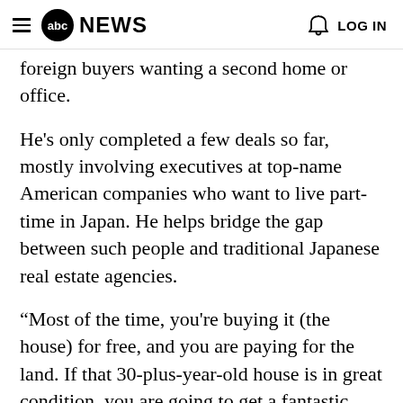abc NEWS  LOG IN
foreign buyers wanting a second home or office.
He's only completed a few deals so far, mostly involving executives at top-name American companies who want to live part-time in Japan. He helps bridge the gap between such people and traditional Japanese real estate agencies.
“Most of the time, you're buying it (the house) for free, and you are paying for the land. If that 30-plus-year-old house is in great condition, you are going to get a fantastic deal,” he said recently, showing one such